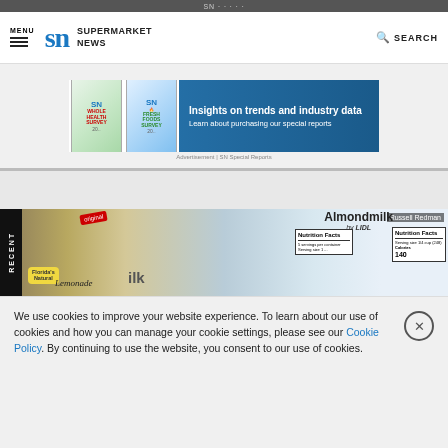Supermarket News website header with MENU, logo, and SEARCH
[Figure (screenshot): Advertisement banner for Supermarket News special reports: Whole Health Survey and Fresh Foods Survey. Text: 'Insights on trends and industry data. Learn about purchasing our special reports']
[Figure (photo): Photo showing food product labels including Florida's Natural Lemonade, an original product label, Almondmilk by Lidl with Nutrition Facts panel, and another Nutrition Facts panel showing 140 Calories. Photo credit: Russell Redman. A 'RECENT' sidebar tab is visible on the left.]
We use cookies to improve your website experience. To learn about our use of cookies and how you can manage your cookie settings, please see our Cookie Policy. By continuing to use the website, you consent to our use of cookies.